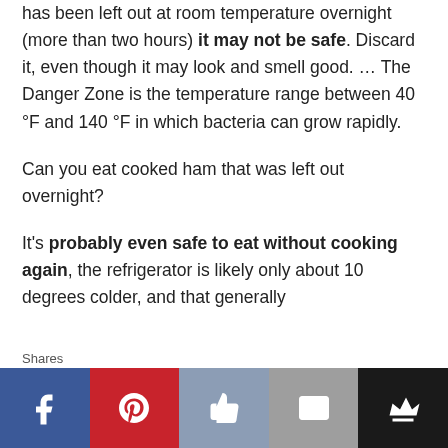has been left out at room temperature overnight (more than two hours) it may not be safe. Discard it, even though it may look and smell good. … The Danger Zone is the temperature range between 40 °F and 140 °F in which bacteria can grow rapidly.
Can you eat cooked ham that was left out overnight?
It's probably even safe to eat without cooking again, the refrigerator is likely only about 10 degrees colder, and that generally
Shares